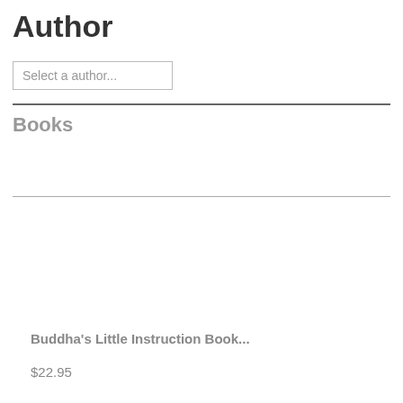Author
Select a author...
Books
Buddha's Little Instruction Book...
$22.95